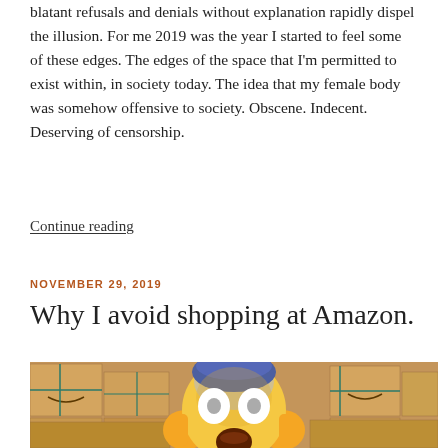blatant refusals and denials without explanation rapidly dispel the illusion. For me 2019 was the year I started to feel some of these edges. The edges of the space that I'm permitted to exist within, in society today. The idea that my female body was somehow offensive to society. Obscene. Indecent. Deserving of censorship.
Continue reading
NOVEMBER 29, 2019
Why I avoid shopping at Amazon.
[Figure (photo): Stack of Amazon cardboard boxes with a screaming face emoji overlaid in the center]